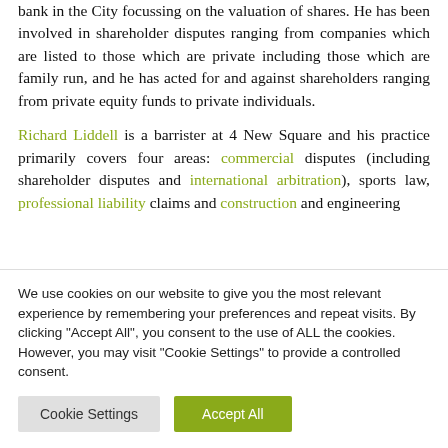bank in the City focussing on the valuation of shares. He has been involved in shareholder disputes ranging from companies which are listed to those which are private including those which are family run, and he has acted for and against shareholders ranging from private equity funds to private individuals.
Richard Liddell is a barrister at 4 New Square and his practice primarily covers four areas: commercial disputes (including shareholder disputes and international arbitration), sports law, professional liability claims and construction and engineering
We use cookies on our website to give you the most relevant experience by remembering your preferences and repeat visits. By clicking "Accept All", you consent to the use of ALL the cookies. However, you may visit "Cookie Settings" to provide a controlled consent.